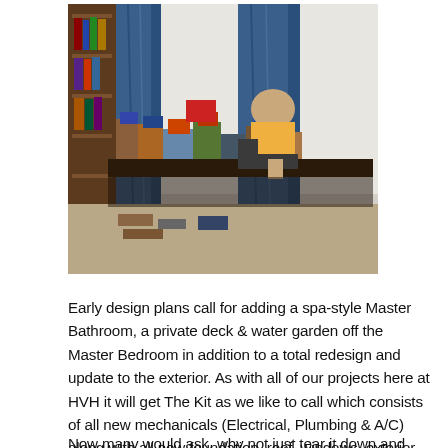[Figure (photo): Indoor photo showing a cluttered room with books and items piled on a table, a person leaning over the table, blue curtains in the background, and a wooden bookshelf on the left wall.]
Early design plans call for adding a spa-style Master Bathroom, a private deck & water garden off the Master Bedroom in addition to a total redesign and update to the exterior. As with all of our projects here at HVH it will get The Kit as we like to call which consists of all new mechanicals (Electrical, Plumbing & A/C) along with all new foundation, roof, windows, exterior siding and doors!
Now many would ask, why not just tear it down and start all over? Great question... our vision at HVH is built around restoring old homes like this back to their former